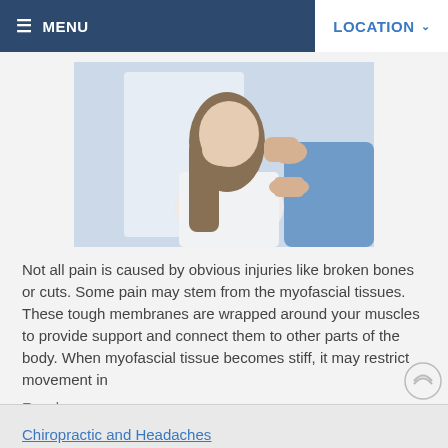≡ MENU   LOCATION ˅
[Figure (photo): A woman with long brown hair holding her head/neck area, being treated by a practitioner in blue scrubs — a chiropractic or physical therapy scene.]
Not all pain is caused by obvious injuries like broken bones or cuts. Some pain may stem from the myofascial tissues. These tough membranes are wrapped around your muscles to provide support and connect them to other parts of the body. When myofascial tissue becomes stiff, it may restrict movement in
Read more
Chiropractic and Headaches